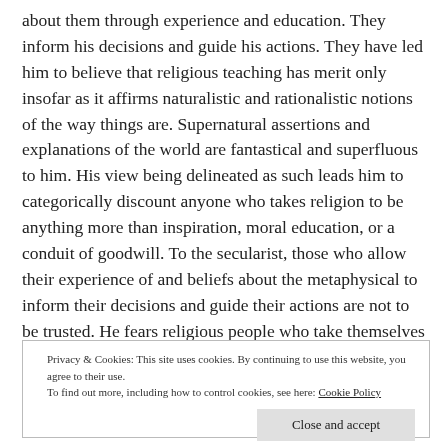about them through experience and education. They inform his decisions and guide his actions. They have led him to believe that religious teaching has merit only insofar as it affirms naturalistic and rationalistic notions of the way things are. Supernatural assertions and explanations of the world are fantastical and superfluous to him. His view being delineated as such leads him to categorically discount anyone who takes religion to be anything more than inspiration, moral education, or a conduit of goodwill. To the secularist, those who allow their experience of and beliefs about the metaphysical to inform their decisions and guide their actions are not to be trusted. He fears religious people who take themselves seriously and would advise the conscientious citizen to
Privacy & Cookies: This site uses cookies. By continuing to use this website, you agree to their use. To find out more, including how to control cookies, see here: Cookie Policy